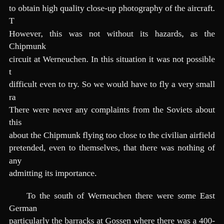to obtain high quality close-up photography of the aircraft. However, this was not without its hazards, as the Chipmunk circuit at Werneuchen. In this situation it was not possible to difficult even to try. So we would have to fly a very small radius. There were never any complaints from the Soviets about this about the Chipmunk flying too close to the civilian airfield pretended, even to themselves, that there was nothing of any admitting its importance.
To the south of Werneuchen there were some East German particularly the barracks at Gossen where there was a 400-metre Guard recruits being trained for duty on the Wall. It was obvious number and variety of escapes could be lessened. On one occasion large area of excavation and, as usual, since it looked to be of come across a target of high priority. The Soviets were in the process allow direct communications with the Soviet Union. Apparently had any idea what to look for until the Chipmunk came across the next 18 months we would visit the site about every five to construction and this was just as well, since within two years real problem with the buried aerial system at Kagel was that it dart outside we could have been in serious trouble.